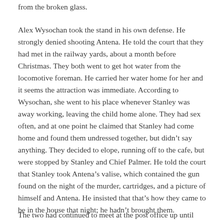from the broken glass.
Alex Wysochan took the stand in his own defense. He strongly denied shooting Antena. He told the court that they had met in the railway yards, about a month before Christmas. They both went to get hot water from the locomotive foreman. He carried her water home for her and it seems the attraction was immediate. According to Wysochan, she went to his place whenever Stanley was away working, leaving the child home alone. They had sex often, and at one point he claimed that Stanley had come home and found them undressed together, but didn't say anything. They decided to elope, running off to the cafe, but were stopped by Stanley and Chief Palmer. He told the court that Stanley took Antena's valise, which contained the gun found on the night of the murder, cartridges, and a picture of himself and Antena. He insisted that that's how they came to be in the house that night; he hadn't brought them.
The two had continued to meet at the post office up until Christmas.